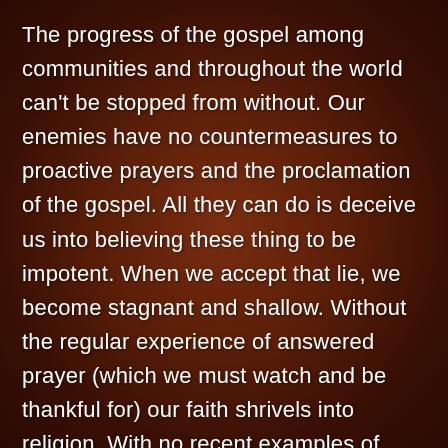The progress of the gospel among communities and throughout the world can't be stopped from without. Our enemies have no countermeasures to proactive prayers and the proclamation of the gospel. All they can do is deceive us into believing these thing to be impotent. When we accept that lie, we become stagnant and shallow. Without the regular experience of answered prayer (which we must watch and be thankful for) our faith shrivels into religion. With no recent examples of conversion, our appreciation for the gospel as God's power to salvation becomes obscured by our embarrassment over the “foolishness” of its